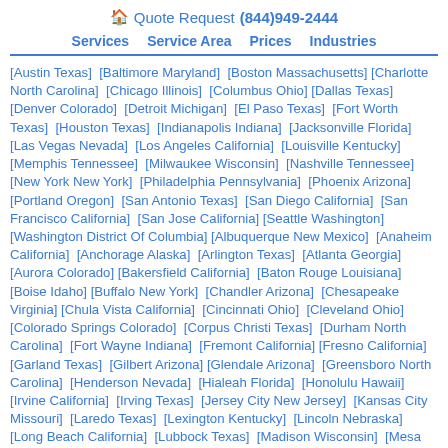🏠 Quote Request (844)949-2444
Services  Service Area  Prices  Industries
[Austin Texas] [Baltimore Maryland] [Boston Massachusetts] [Charlotte North Carolina] [Chicago Illinois] [Columbus Ohio] [Dallas Texas] [Denver Colorado] [Detroit Michigan] [El Paso Texas] [Fort Worth Texas] [Houston Texas] [Indianapolis Indiana] [Jacksonville Florida] [Las Vegas Nevada] [Los Angeles California] [Louisville Kentucky] [Memphis Tennessee] [Milwaukee Wisconsin] [Nashville Tennessee] [New York New York] [Philadelphia Pennsylvania] [Phoenix Arizona] [Portland Oregon] [San Antonio Texas] [San Diego California] [San Francisco California] [San Jose California] [Seattle Washington] [Washington District Of Columbia] [Albuquerque New Mexico] [Anaheim California] [Anchorage Alaska] [Arlington Texas] [Atlanta Georgia] [Aurora Colorado] [Bakersfield California] [Baton Rouge Louisiana] [Boise Idaho] [Buffalo New York] [Chandler Arizona] [Chesapeake Virginia] [Chula Vista California] [Cincinnati Ohio] [Cleveland Ohio] [Colorado Springs Colorado] [Corpus Christi Texas] [Durham North Carolina] [Fort Wayne Indiana] [Fremont California] [Fresno California] [Garland Texas] [Gilbert Arizona] [Glendale Arizona] [Greensboro North Carolina] [Henderson Nevada] [Hialeah Florida] [Honolulu Hawaii] [Irvine California] [Irving Texas] [Jersey City New Jersey] [Kansas City Missouri] [Laredo Texas] [Lexington Kentucky] [Lincoln Nebraska] [Long Beach California] [Lubbock Texas] [Madison Wisconsin] [Mesa Arizona] [Miami Florida] [Minneapolis